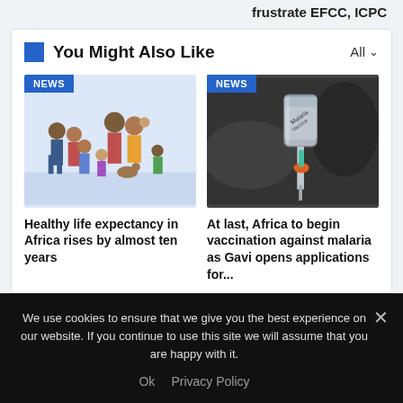frustrate EFCC, ICPC
You Might Also Like
[Figure (illustration): Cartoon illustration of a multigenerational African family group]
Healthy life expectancy in Africa rises by almost ten years
[Figure (photo): Close-up photo of a syringe/vaccine vial with blurred background]
At last, Africa to begin vaccination against malaria as Gavi opens applications for...
We use cookies to ensure that we give you the best experience on our website. If you continue to use this site we will assume that you are happy with it.
Ok   Privacy Policy